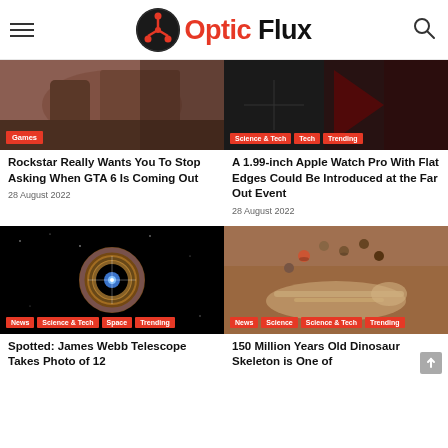Optic Flux
[Figure (photo): Person playing video game, with Games tag overlay]
Rockstar Really Wants You To Stop Asking When GTA 6 Is Coming Out
28 August 2022
[Figure (photo): Tech device image with Science & Tech, Tech, Trending tag overlays]
A 1.99-inch Apple Watch Pro With Flat Edges Could Be Introduced at the Far Out Event
28 August 2022
[Figure (photo): James Webb telescope cosmic ring image with News, Science & Tech, Space, Trending tags]
Spotted: James Webb Telescope Takes Photo of 12
[Figure (photo): Aerial photo of people around dinosaur skeleton with News, Science, Science & Tech, Trending tags]
150 Million Years Old Dinosaur Skeleton is One of